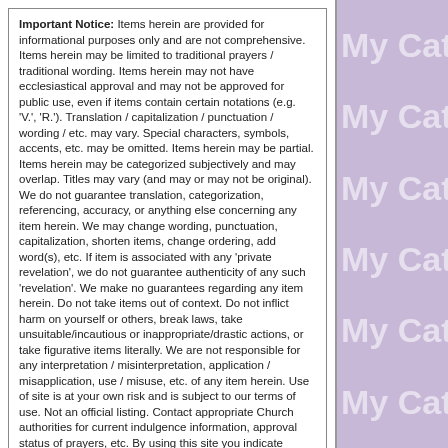Important Notice: Items herein are provided for informational purposes only and are not comprehensive. Items herein may be limited to traditional prayers / traditional wording. Items herein may not have ecclesiastical approval and may not be approved for public use, even if items contain certain notations (e.g. 'V.', 'R.'). Translation / capitalization / punctuation / wording / etc. may vary. Special characters, symbols, accents, etc. may be omitted. Items herein may be partial. Items herein may be categorized subjectively and may overlap. Titles may vary (and may or may not be original). We do not guarantee translation, categorization, referencing, accuracy, or anything else concerning any item herein. We may change wording, punctuation, capitalization, shorten items, change ordering, add word(s), etc. If item is associated with any 'private revelation', we do not guarantee authenticity of any such 'revelation'. We make no guarantees regarding any item herein. Do not take items out of context. Do not inflict harm on yourself or others, break laws, take unsuitable/incautious or inappropriate/drastic actions, or take figurative items literally. We are not responsible for any interpretation / misinterpretation, application / misapplication, use / misuse, etc. of any item herein. Use of site is at your own risk and is subject to our terms of use. Not an official listing. Contact appropriate Church authorities for current indulgence information, approval status of prayers, etc. By using this site you indicate agreement to all terms. For more terms information, click here
We make no guarantees regarding any item herein. By using this site you agree to all terms. For terms information, see "Important Notice" above and click here.